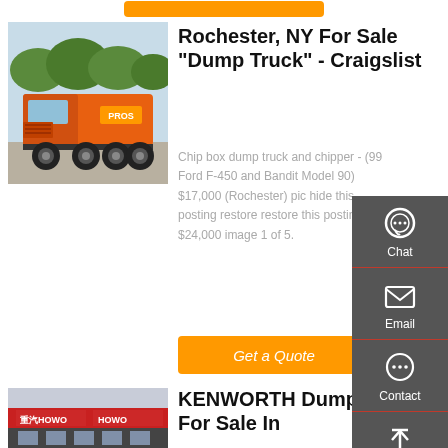[Figure (screenshot): Top orange button bar (partial)]
[Figure (photo): Orange dump truck chassis (Howo) parked on a lot with trees in background]
Rochester, NY For Sale "Dump Truck" - Craigslist
Chip box dump truck and chipper - (99 Ford F-450 and Bandit Model 90) $17,000 (Rochester) pic hide this posting restore restore this posting. $24,000 image 1 of 5.
[Figure (screenshot): Get a Quote orange button]
[Figure (screenshot): Side panel with Chat, Email, Contact, Top icons on dark grey background]
[Figure (photo): KENWORTH / HOWO dealership building with red signage]
KENWORTH Dump Trucks For Sale In